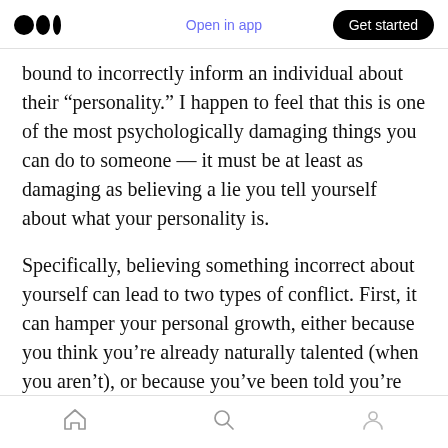Medium logo | Open in app | Get started
bound to incorrectly inform an individual about their “personality.” I happen to feel that this is one of the most psychologically damaging things you can do to someone — it must be at least as damaging as believing a lie you tell yourself about what your personality is.
Specifically, believing something incorrect about yourself can lead to two types of conflict. First, it can hamper your personal growth, either because you think you’re already naturally talented (when you aren’t), or because you’ve been told you’re no good. Either way, you’re demotivated right out of
Home | Search | Profile